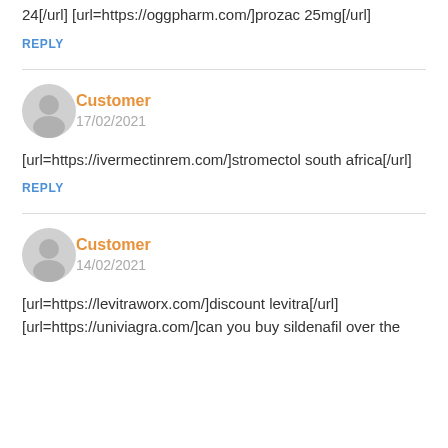24[/url] [url=https://oggpharm.com/]prozac 25mg[/url]
REPLY
Customer
17/02/2021
[url=https://ivermectinrem.com/]stromectol south africa[/url]
REPLY
Customer
14/02/2021
[url=https://levitraworx.com/]discount levitra[/url] [url=https://univiagra.com/]can you buy sildenafil over the counter[/url] [url=https://onlinetrs.com/]r...